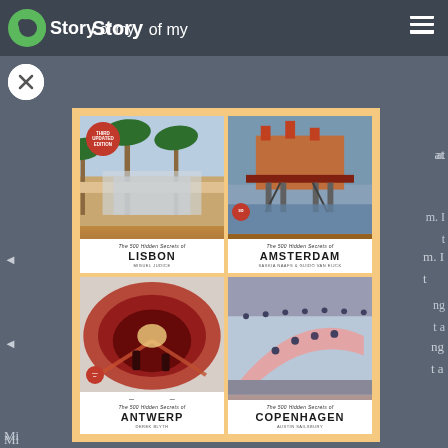Story of my
[Figure (illustration): A 2x2 grid of book covers from 'The 500 Hidden Secrets' series: Lisbon (third updated edition, palm trees), Amsterdam (industrial structure over water), Antwerp (metro tunnel), Copenhagen (people on pink slide). Displayed in an orange/peach modal overlay on a dark gray background. A white X close button appears in the top left, and a hamburger menu icon in the top right.]
at
m. I
t
ng
t a
Mi